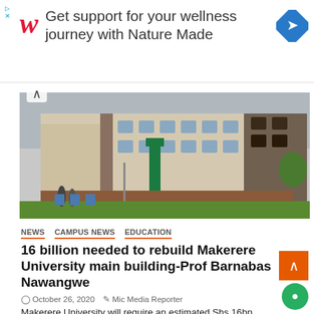[Figure (infographic): Walgreens advertisement banner: red cursive W logo, text 'Get support for your wellness journey with Nature Made', blue navigation arrow diamond icon]
[Figure (photo): Exterior photograph of Makerere University main building - large multi-storey colonial-style white and beige building with arched windows, green sign board visible, people walking on lawn in foreground]
NEWS  CAMPUS NEWS  EDUCATION
16 billion needed to rebuild Makerere University main building-Prof Barnabas Nawangwe
October 26, 2020  Mic Media Reporter
Makerere University will require an estimated Shs 16bn